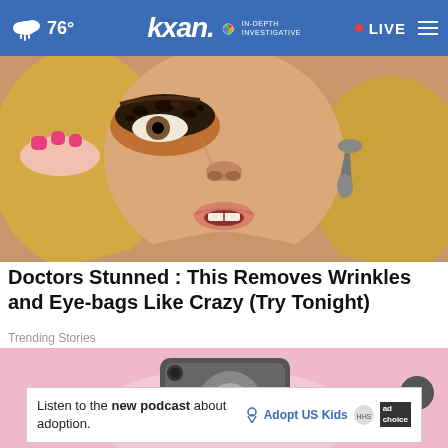76° | kxan IN-DEPTH INVESTIGATIVE | LIVE
[Figure (photo): Close-up of a blonde woman applying eye makeup with pink nails and a leopard print eye look, wearing a dangling earring]
Doctors Stunned : This Removes Wrinkles and Eye-bags Like Crazy (Try Tonight)
Trending Stories
[Figure (photo): Hand holding a phone ring holder/grip against a pink background]
Listen to the new podcast about adoption.
[Figure (logo): Adopt US Kids logo with HHS badge and ad marker]